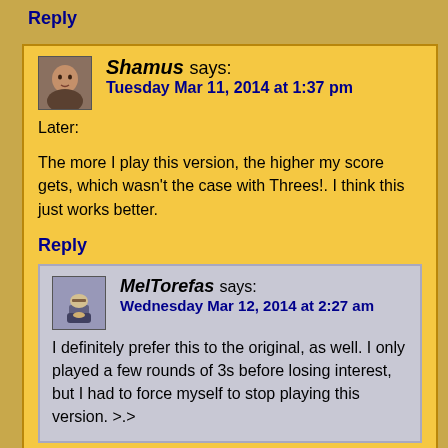Reply
Shamus says: Tuesday Mar 11, 2014 at 1:37 pm
Later:

The more I play this version, the higher my score gets, which wasn't the case with Threes!. I think this just works better.
Reply
MelTorefas says: Wednesday Mar 12, 2014 at 2:27 am
I definitely prefer this to the original, as well. I only played a few rounds of 3s before losing interest, but I had to force myself to stop playing this version. >.>